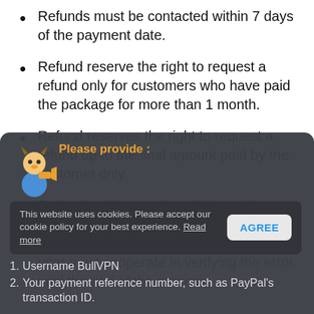Refunds must be contacted within 7 days of the payment date.
Refund reserve the right to request a refund only for customers who have paid the package for more than 1 month.
Refund reserves the right to request a refund up to the final amount paid by the customer only.
Refunds will be made only for problems caused by a malfunction of the company's systems or servers. And the user must cooperate in verifying the error until the end of the process.
Please provide :
This website uses cookies. Please accept our cookie policy for your best experience. Read more
Username BullVPN
Your payment reference number, such as PayPal's transaction ID.